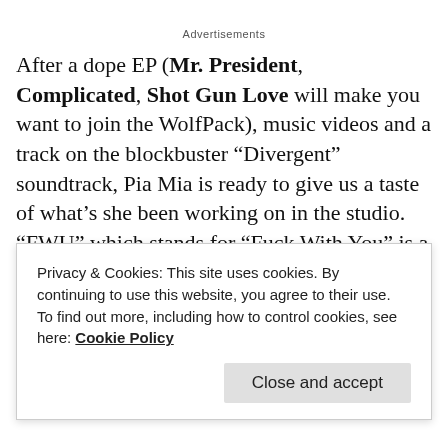Advertisements
After a dope EP (Mr. President, Complicated, Shot Gun Love will make you want to join the WolfPack), music videos and a track on the blockbuster "Divergent" soundtrack, Pia Mia is ready to give us a taste of what's she been working on in the studio. "FWU" which stands for "Fuck With You" is a mid-tempo, bass heavy, track that is right on par with what can be heard on the radio. The bouncy production from Nic Nac is giving me cali
Privacy & Cookies: This site uses cookies. By continuing to use this website, you agree to their use.
To find out more, including how to control cookies, see here: Cookie Policy
Close and accept